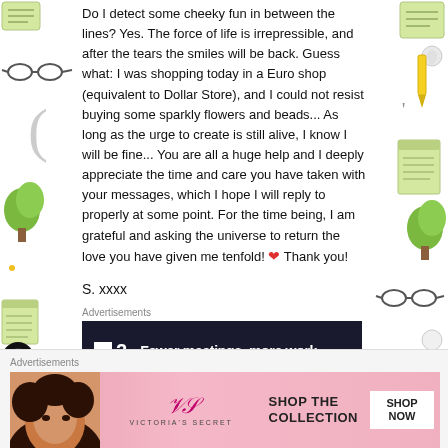[Figure (illustration): Decorative illustrated border on left and right sides of the page with items like glasses, trees, notepads, scissors, and other stationery/nature illustrations in green and grey tones]
Do I detect some cheeky fun in between the lines? Yes. The force of life is irrepressible, and after the tears the smiles will be back. Guess what: I was shopping today in a Euro shop (equivalent to Dollar Store), and I could not resist buying some sparkly flowers and beads... As long as the urge to create is still alive, I know I will be fine... You are all a huge help and I deeply appreciate the time and care you have taken with your messages, which I hope I will reply to properly at some point. For the time being, I am grateful and asking the universe to return the love you have given me tenfold! ❤ Thank you!
S. xxxx
Advertisements
[Figure (screenshot): Dark advertisement banner for P2 with white text reading 'Fewer meetings, more work.' on a near-black background with the P2 logo (white square with P and 2)]
Advertisements
[Figure (screenshot): Victoria's Secret advertisement on pink background with a model photo on the left, VS logo in center, and text 'SHOP THE COLLECTION' with a white 'SHOP NOW' button on the right]